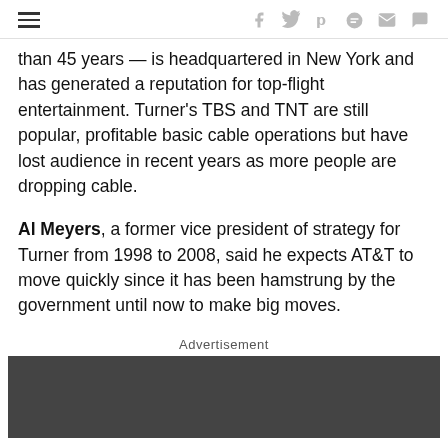≡ f 𝕏 p d ✉ ☐
than 45 years — is headquartered in New York and has generated a reputation for top-flight entertainment. Turner's TBS and TNT are still popular, profitable basic cable operations but have lost audience in recent years as more people are dropping cable.
Al Meyers, a former vice president of strategy for Turner from 1998 to 2008, said he expects AT&T to move quickly since it has been hamstrung by the government until now to make big moves.
Advertisement
[Figure (other): Dark grey advertisement banner placeholder]